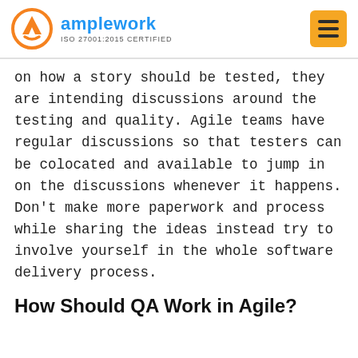amplework ISO 27001:2015 CERTIFIED
on how a story should be tested, they are intending discussions around the testing and quality. Agile teams have regular discussions so that testers can be colocated and available to jump in on the discussions whenever it happens. Don’t make more paperwork and process while sharing the ideas instead try to involve yourself in the whole software delivery process.
How Should QA Work in Agile?